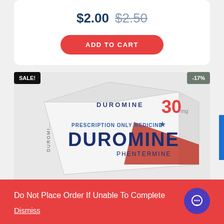$2.00  $2.50
ADD TO CART
SALE!
-17%
[Figure (photo): Duromine 30mg Phentermine prescription medicine box — white box with red accent, bold DUROMINE PHENTERMINE text and star logo, labeled PRESCRIPTION ONLY MEDICINE]
Do Not Place Order If Unable To Complete
Dismiss